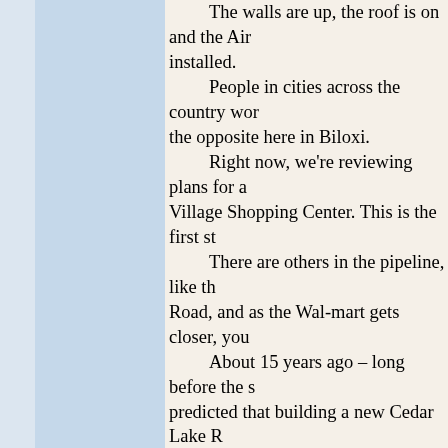The walls are up, the roof is on and the Air installed. People in cities across the country wor the opposite here in Biloxi. Right now, we're reviewing plans for a Village Shopping Center. This is the first st There are others in the pipeline, like th Road, and as the Wal-mart gets closer, you About 15 years ago – long before the s predicted that building a new Cedar Lake R Road would light up that area around that i We first started seeing it happen when more medical services locate in that area. Then, the restaurants sprouted up, and growth at Cedar-Popp's Shopping Center, and four banks built in the immediate area. And then just a couple weeks ago, we hospital coming to Biloxi. It's a 132 million We'll have two hospitals in Biloxi, one the Bay, here in downtown with 198 beds. art medical services.